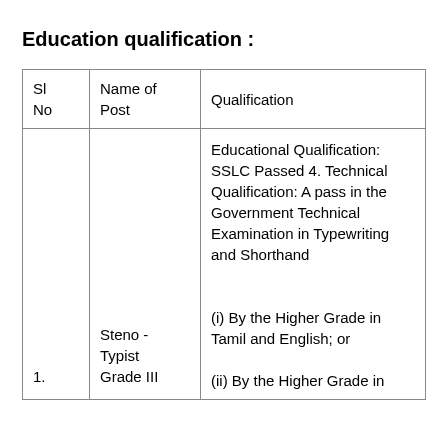Education qualification :
| Sl No | Name of Post | Qualification |
| --- | --- | --- |
| 1. | Steno - Typist Grade III | Educational Qualification: SSLC Passed 4. Technical Qualification: A pass in the Government Technical Examination in Typewriting and Shorthand

(i) By the Higher Grade in Tamil and English; or

(ii) By the Higher Grade in |